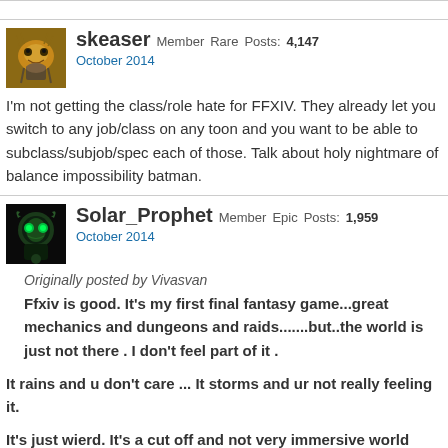skeaser Member Rare Posts: 4,147 October 2014
I'm not getting the class/role hate for FFXIV. They already let you switch to any job/class on any toon and you want to be able to subclass/subjob/spec each of those. Talk about holy nightmare of balance impossibility batman.
Solar_Prophet Member Epic Posts: 1,959 October 2014
Originally posted by Vivasvan
Ffxiv is good. It's my first final fantasy game...great mechanics and dungeons and raids.......but..the world is just not there . I don't feel part of it .
It rains and u don't care ... It storms and ur not really feeling it.
It's just wierd. It's a cut off and not very immersive world